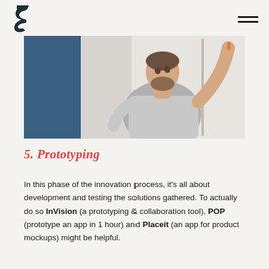[Logo] [hamburger menu]
[Figure (photo): A man with a beard writing or pointing at a whiteboard, wearing a light grey polo shirt, with a blue panel visible on the left side of the image.]
5. Prototyping
In this phase of the innovation process, it's all about development and testing the solutions gathered. To actually do so InVision (a prototyping & collaboration tool), POP (prototype an app in 1 hour) and Placeit (an app for product mockups) might be helpful.